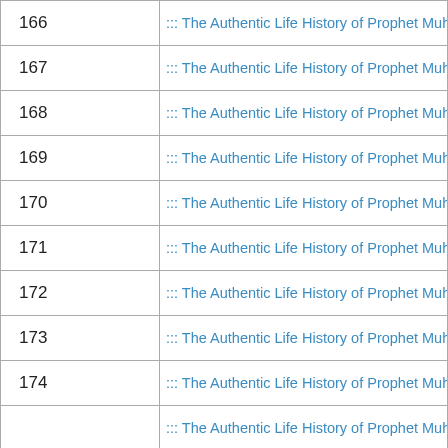| # | Title |
| --- | --- |
| 166 | ::: The Authentic Life History of Prophet Muhammad (SWA) ::: Tar |
| 167 | ::: The Authentic Life History of Prophet Muhammad (SWA) ::: Tar |
| 168 | ::: The Authentic Life History of Prophet Muhammad (SWA) ::: Tar |
| 169 | ::: The Authentic Life History of Prophet Muhammad (SWA) ::: Tar |
| 170 | ::: The Authentic Life History of Prophet Muhammad (SWA) ::: Tar |
| 171 | ::: The Authentic Life History of Prophet Muhammad (SWA) ::: Tar |
| 172 | ::: The Authentic Life History of Prophet Muhammad (SWA) ::: Tar |
| 173 | ::: The Authentic Life History of Prophet Muhammad (SWA) ::: Tar |
| 174 | ::: The Authentic Life History of Prophet Muhammad (SWA) ::: Tar |
|  | ::: The Authentic Life History of Prophet Muhammad (SWA) ::: Tar |